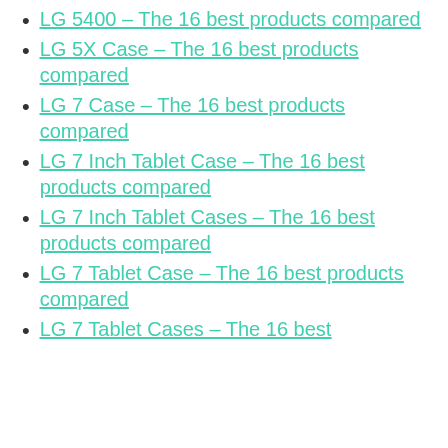LG 5400 – The 16 best products compared
LG 5X Case – The 16 best products compared
LG 7 Case – The 16 best products compared
LG 7 Inch Tablet Case – The 16 best products compared
LG 7 Inch Tablet Cases – The 16 best products compared
LG 7 Tablet Case – The 16 best products compared
LG 7 Tablet Cases – The 16 best